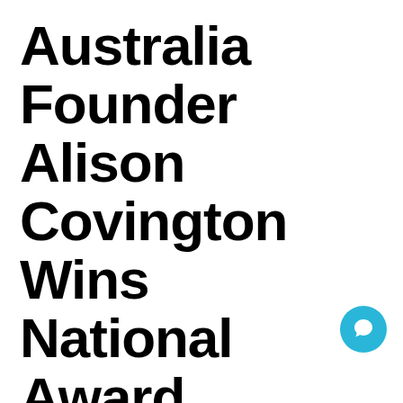Australia Founder Alison Covington Wins National Award
Leave a Comment / Media, News & Updates / By Good360
Media / Press Good360 Australia founder Alison Covington was recently interviewed by the Fairfield City Champion about winning the Third Sector awards CEO of the Year for 2021. Last year, Good360 Australia were matching 13-items per minute to people in need from